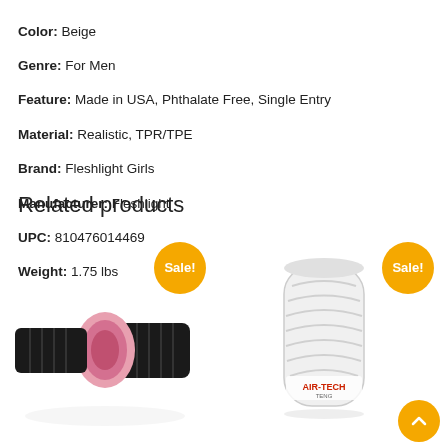Color: Beige
Genre: For Men
Feature: Made in USA, Phthalate Free, Single Entry
Material: Realistic, TPR/TPE
Brand: Fleshlight Girls
Manufacturer: Fleshlight
UPC: 810476014469
Weight: 1.75 lbs
Related products
[Figure (photo): Fleshlight product image with Sale! badge]
[Figure (photo): TENGA Air-Tech product in white container with Sale! badge]